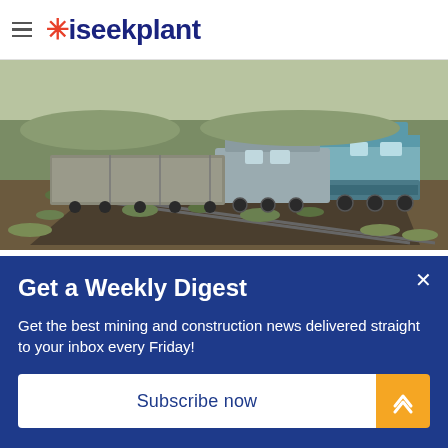iseekplant
[Figure (photo): A freight train with blue and grey locomotives traveling along a railway track through arid scrubland landscape]
INDUSTRY NEWS
Get a Weekly Digest
Get the best mining and construction news delivered straight to your inbox every Friday!
Subscribe now